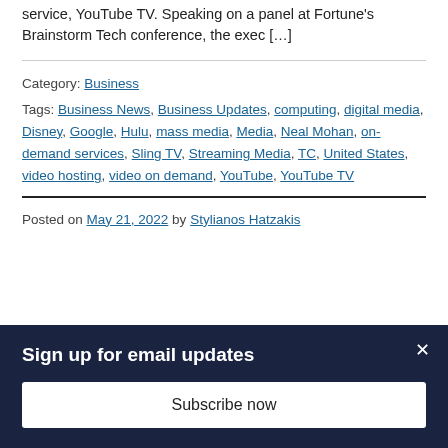service, YouTube TV. Speaking on a panel at Fortune's Brainstorm Tech conference, the exec […]
Category: Business
Tags: Business News, Business Updates, computing, digital media, Disney, Google, Hulu, mass media, Media, Neal Mohan, on-demand services, Sling TV, Streaming Media, TC, United States, video hosting, video on demand, YouTube, YouTube TV
Posted on May 21, 2022 by Stylianos Hatzakis
Sign up for email updates
Subscribe now